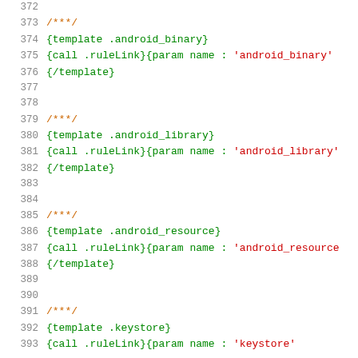372  (blank)
373  /​***/
374  {template .android_binary}
375  {call .ruleLink}{param name : 'android_binary'
376  {/template}
377  (blank)
378  (blank)
379  /​***/
380  {template .android_library}
381  {call .ruleLink}{param name : 'android_library'
382  {/template}
383  (blank)
384  (blank)
385  /​***/
386  {template .android_resource}
387  {call .ruleLink}{param name : 'android_resource
388  {/template}
389  (blank)
390  (blank)
391  /​***/
392  {template .keystore}
393  {call .ruleLink}{param name : 'keystore'...